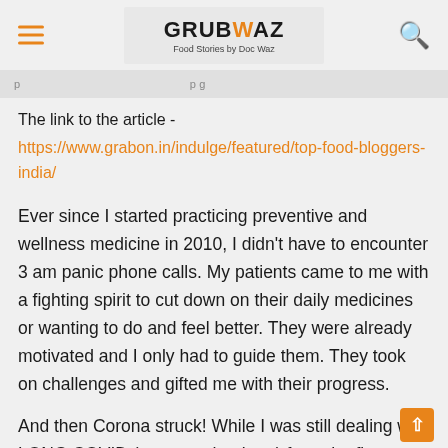GRUBWAZ Food Stories by Doc Waz
navigation bar partial text
The link to the article -
https://www.grabon.in/indulge/featured/top-food-bloggers-india/
Ever since I started practicing preventive and wellness medicine in 2010, I didn't have to encounter 3 am panic phone calls. My patients came to me with a fighting spirit to cut down on their daily medicines or wanting to do and feel better. They were already motivated and I only had to guide them. They took on challenges and gifted me with their progress.
And then Corona struck! While I was still dealing with LONG COVID (more on that later) from the first wave,